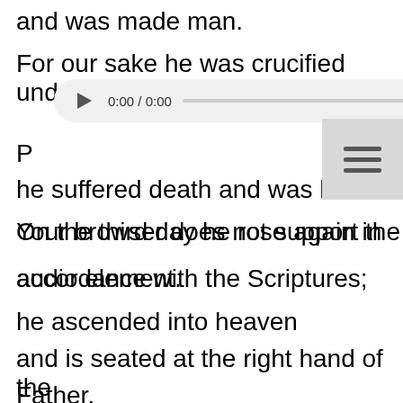and was made man.
For our sake he was crucified under P
[Figure (screenshot): Browser audio player widget showing 0:00 / 0:00 timestamp and progress bar]
he suffered death and was buried.
On the third day he rose again in accordance with the Scriptures;
he ascended into heaven
and is seated at the right hand of the Father.
He will come again in glory to judge the living and the dead,
and his kingdom will have no end